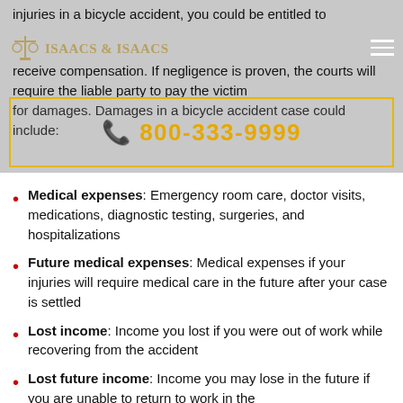injuries in a bicycle accident, you could be entitled to receive compensation. If negligence is proven, the courts will require the liable party to pay the victim for damages. Damages in a bicycle accident case could include:
[Figure (logo): Isaacs & Isaacs law firm logo with scales of justice icon and firm name]
📞 800-333-9999
Medical expenses: Emergency room care, doctor visits, medications, diagnostic testing, surgeries, and hospitalizations
Future medical expenses: Medical expenses if your injuries will require medical care in the future after your case is settled
Lost income: Income you lost if you were out of work while recovering from the accident
Lost future income: Income you may lose in the future if you are unable to return to work in the same capacity